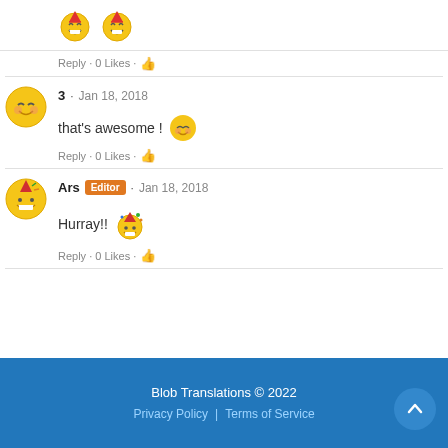[Figure (illustration): Two laughing emoji faces at the top]
Reply · 0 Likes · 👍
[Figure (illustration): Smiling/blushing emoji avatar for user '3']
3 · Jan 18, 2018
that's awesome ! 😊
Reply · 0 Likes · 👍
[Figure (illustration): Yellow emoji avatar with party accessories for user 'Ars']
Ars · Editor · Jan 18, 2018
Hurray!! 🎉
Reply · 0 Likes · 👍
Blob Translations © 2022 | Privacy Policy | Terms of Service